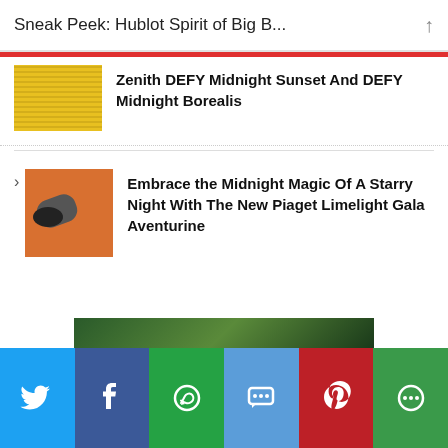Sneak Peek: Hublot Spirit of Big B...
Zenith DEFY Midnight Sunset And DEFY Midnight Borealis
Embrace the Midnight Magic Of A Starry Night With The New Piaget Limelight Gala Aventurine
[Figure (screenshot): Green landscape image strip at bottom of article list]
Social sharing buttons: Twitter, Facebook, WhatsApp, SMS, Pinterest, More